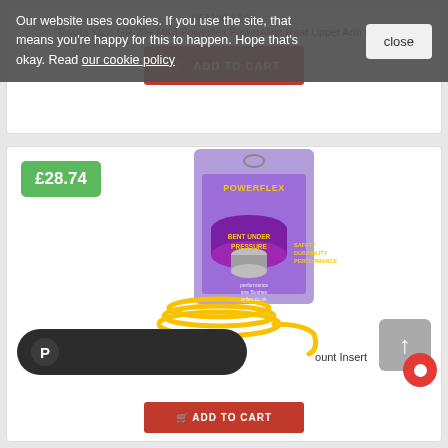Our website uses cookies. If you use the site, that means you're happy for this to happen. Hope that's okay. Read our cookie policy
close
PFA100-12-70
Toyota Yaris GR 20+ MK3 Powerflex PowerAlign Rear Upper Arm Outer
ADD TO CART
£28.74
[Figure (photo): Powerflex product package showing a purple polyurethane bush/mount insert with yellow performance bushes coiled below it. The packaging is purple/yellow branded with POWERFLEX logo and text 'BENT UNDER PRESSURE', 'SAFETY DURABILITY PERFORMANCE'.]
ount Insert
ADD TO CART